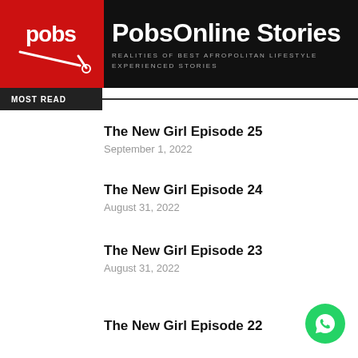PobsOnline Stories
Realities Of Best Afropolitan LifeStyle Experienced Stories
MOST READ
The New Girl Episode 25
September 1, 2022
The New Girl Episode 24
August 31, 2022
The New Girl Episode 23
August 31, 2022
The New Girl Episode 22